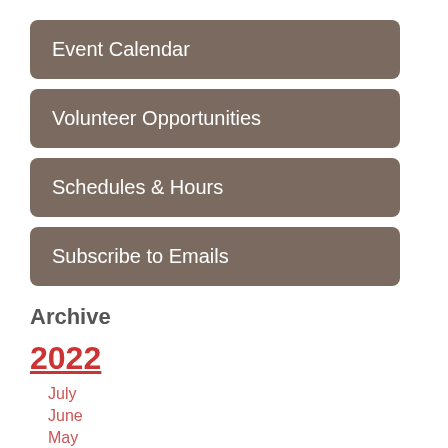Event Calendar
Volunteer Opportunities
Schedules & Hours
Subscribe to Emails
Archive
2022
July
June
May
April
March
February
January